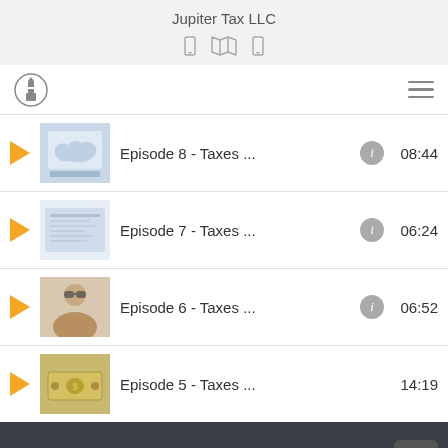Jupiter Tax LLC
[Figure (screenshot): Navigation bar with logo circle icon on left and hamburger menu on right]
Episode 8 - Taxes ... 08:44
Episode 7 - Taxes ... 06:24
Episode 6 - Taxes ... 06:52
Episode 5 - Taxes ... 14:19
© 2022 Jupiter Tax LLC